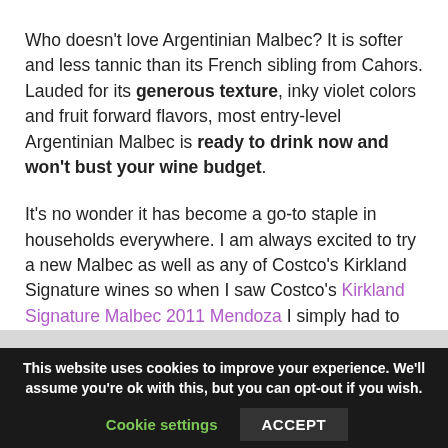Who doesn't love Argentinian Malbec? It is softer and less tannic than its French sibling from Cahors. Lauded for its generous texture, inky violet colors and fruit forward flavors, most entry-level Argentinian Malbec is ready to drink now and won't bust your wine budget.
It's no wonder it has become a go-to staple in households everywhere. I am always excited to try a new Malbec as well as any of Costco's Kirkland Signature wines so when I saw Costco's Kirkland Signature Malbec 2011 Mendoza I simply had to try it.
This website uses cookies to improve your experience. We'll assume you're ok with this, but you can opt-out if you wish. Cookie settings ACCEPT